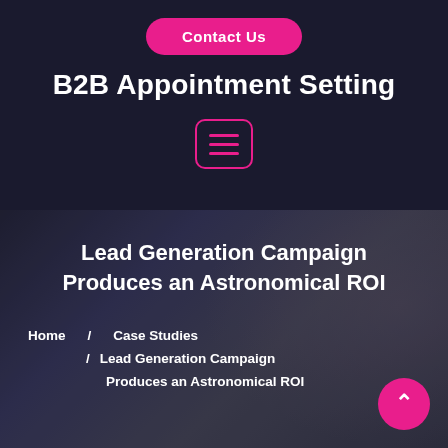Contact Us
B2B Appointment Setting
[Figure (other): Hamburger menu icon with pink border and three pink horizontal bars on dark background]
[Figure (photo): Dark overlay hero section with blurred background photo of people, likely in a business/call center setting]
Lead Generation Campaign Produces an Astronomical ROI
Home  /  Case Studies  /  Lead Generation Campaign Produces an Astronomical ROI